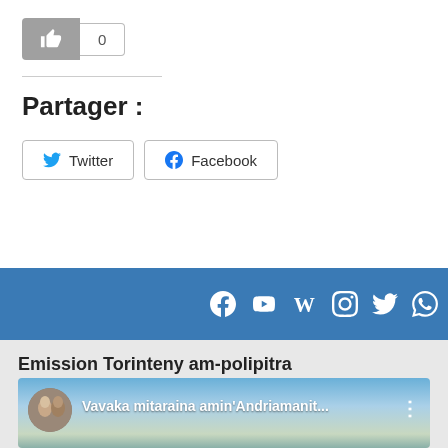[Figure (other): Like button (thumbs up icon) with count 0 badge]
Partager :
[Figure (other): Twitter and Facebook share buttons]
[Figure (other): Blue social media bar with Facebook, YouTube, Wikipedia, Instagram, Twitter, WhatsApp icons]
Emission Torinteny am-polipitra
[Figure (screenshot): YouTube video thumbnail: Vavaka mitaraina amin'Andriamanit... with avatar and three-dot menu]